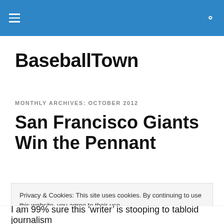BaseballTown — navigation header with hamburger menu and search icon
BaseballTown
MONTHLY ARCHIVES: OCTOBER 2012
San Francisco Giants Win the Pennant
Privacy & Cookies: This site uses cookies. By continuing to use this website, you agree to their use.
To find out more, including how to control cookies, see here: Cookie Policy
Close and accept
I am 99% sure this 'writer' is stooping to tabloid journalism